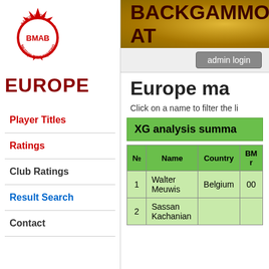[Figure (logo): BMAB Backgammon Masters Awarding Body circular logo with red starburst and red circle border]
EUROPE
Player Titles
Ratings
Club Ratings
Result Search
Contact
BACKGAMMON AT
Europe ma
Click on a name to filter the li
XG analysis summa
| № | Name | Country | BM r |
| --- | --- | --- | --- |
| 1 | Walter Meuwis | Belgium | 00 |
| 2 | Sassan Kachanian |  |  |